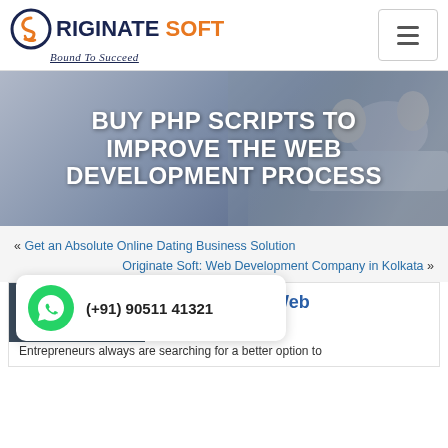[Figure (logo): Originate Soft logo with circular S icon, company name and tagline 'Bound To Succeed']
[Figure (photo): Banner image showing people working at a desk with laptops, overlaid with large white uppercase text: BUY PHP SCRIPTS TO IMPROVE THE WEB DEVELOPMENT PROCESS]
BUY PHP SCRIPTS TO IMPROVE THE WEB DEVELOPMENT PROCESS
« Get an Absolute Online Dating Business Solution
Originate Soft: Web Development Company in Kolkata »
Web Development
March 1, 2019, 3:45 PM
...improve the Web ...ss
(+91) 90511 41321
Entrepreneurs always are searching for a better option to